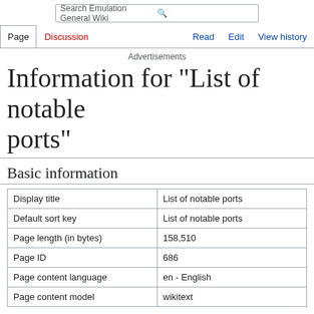Search Emulation General Wiki | Page | Discussion | Read | Edit | View history
Advertisements
Information for "List of notable ports"
Basic information
|  |  |
| --- | --- |
| Display title | List of notable ports |
| Default sort key | List of notable ports |
| Page length (in bytes) | 158,510 |
| Page ID | 686 |
| Page content language | en - English |
| Page content model | wikitext |